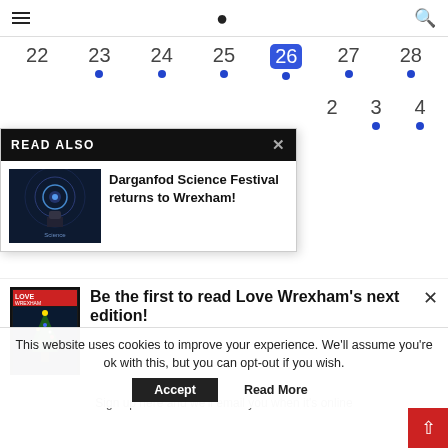Navigation bar with hamburger menu and search icon
[Figure (other): Calendar row showing dates 22, 23, 24, 25, 26 (highlighted), 27, 28 with blue dots under 23-28, and second row showing 2, 3 (dot), 4 (dot)]
READ ALSO
[Figure (photo): Blue toned science/festival image thumbnail]
Darganfod Science Festival returns to Wrexham!
[Figure (illustration): Love Wrexham magazine cover with Christmas tree image]
Be the first to read Love Wrexham's next edition!
Sign up here and we'll email you when it's online
This website uses cookies to improve your experience. We'll assume you're ok with this, but you can opt-out if you wish.
Accept
Read More